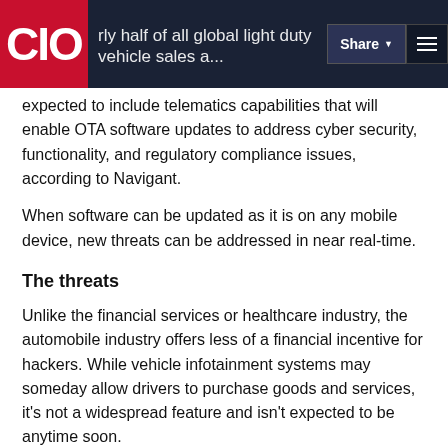CIO | nearly half of all global light duty vehicle sales are expected to include telematics capabilities that will enable OTA software updates to address cyber security, functionality, and regulatory compliance issues, according to Navigant.
expected to include telematics capabilities that will enable OTA software updates to address cyber security, functionality, and regulatory compliance issues, according to Navigant.
When software can be updated as it is on any mobile device, new threats can be addressed in near real-time.
The threats
Unlike the financial services or healthcare industry, the automobile industry offers less of a financial incentive for hackers. While vehicle infotainment systems may someday allow drivers to purchase goods and services, it's not a widespread feature and isn't expected to be anytime soon.
What does loom as a larger threat from hackers is